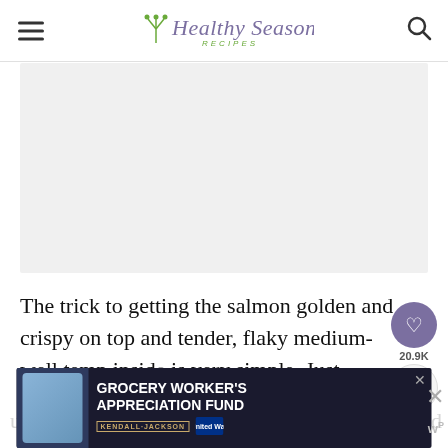Healthy Seasonal Recipes
[Figure (photo): Large light gray image placeholder area below the site header, likely a food/salmon photo]
The trick to getting the salmon golden and crispy on top and tender, flaky medium-well temp inside is very simple. Just remove the salmon skin and sprinkle on some salt, pepper, herbs and spices. I use... crushed
[Figure (infographic): Advertisement banner: Grocery Worker's Appreciation Fund featuring Kendall-Jackson and United Way logos, with a photo of a grocery worker]